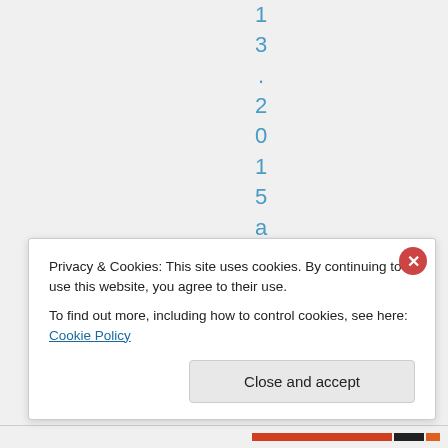13. 2015 at 9:15
Privacy & Cookies: This site uses cookies. By continuing to use this website, you agree to their use.
To find out more, including how to control cookies, see here: Cookie Policy
Close and accept